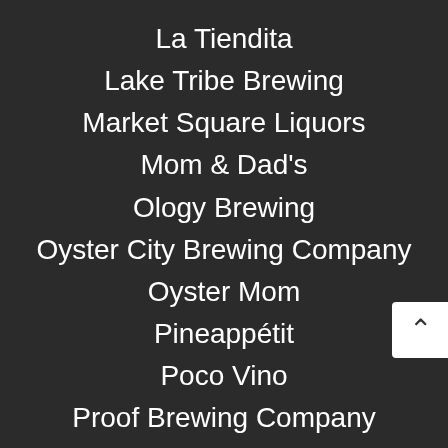La Tiendita
Lake Tribe Brewing
Market Square Liquors
Mom & Dad's
Ology Brewing
Oyster City Brewing Company
Oyster Mom
Pineappétit
Poco Vino
Proof Brewing Company
Rootstock Pours & Plates
Savour
Shula's 347 Grill
Sweet Grass Dairy
Tallahassee Picnic
The Wine House